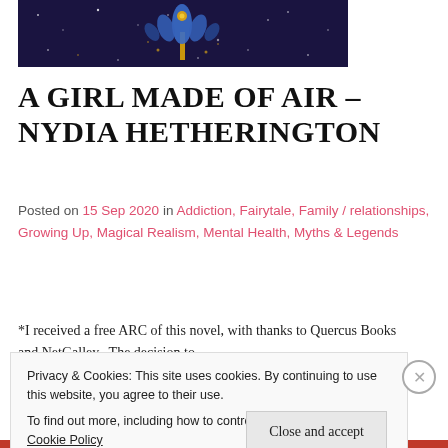[Figure (illustration): Dark navy blue decorative book cover image with ornate floral/botanical motif in blue and gold on a starry background]
A GIRL MADE OF AIR – NYDIA HETHERINGTON
Posted on 15 Sep 2020 in Addiction, Fairytale, Family / relationships, Growing Up, Magical Realism, Mental Health, Myths & Legends
*I received a free ARC of this novel, with thanks to Quercus Books and NetGalley.  The decision to
Privacy & Cookies: This site uses cookies. By continuing to use this website, you agree to their use.
To find out more, including how to control cookies, see here: Cookie Policy
Close and accept